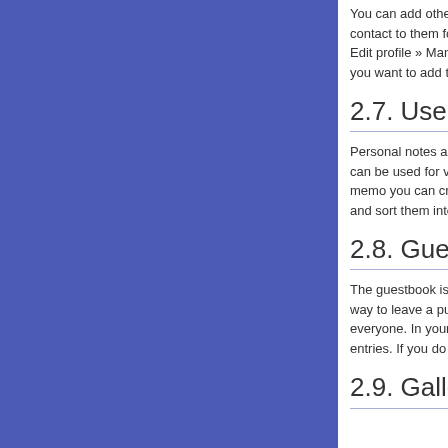[Figure (illustration): Blue/purple rectangle filling the left side of the page]
You can add other users to your contact list and send a contact to them for easy communication. You can find your Edit profile » Manage contacts menu which allows you to add contacts you want to add to your personal list.
2.7. User me
Personal notes are a personal notepad available to you that can be used for various purposes. With the Personal notes memo you can create notes, assign categories to them and sort them into fo
2.8. Guestbo
The guestbook is lo way to leave a publi everyone. In your o entries. If you do no
2.9. Gallery